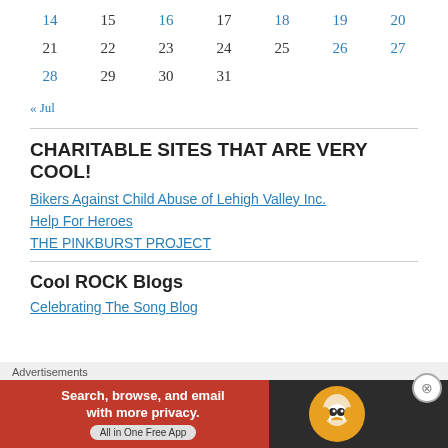| 14 | 15 | 16 | 17 | 18 | 19 | 20 |
| 21 | 22 | 23 | 24 | 25 | 26 | 27 |
| 28 | 29 | 30 | 31 |  |  |  |
« Jul
CHARITABLE SITES THAT ARE VERY COOL!
Bikers Against Child Abuse of Lehigh Valley Inc.
Help For Heroes
THE PINKBURST PROJECT
Cool ROCK Blogs
Celebrating The Song Blog
[Figure (other): DuckDuckGo advertisement banner: orange and dark background, text 'Search, browse, and email with more privacy. All in One Free App' with DuckDuckGo duck logo]